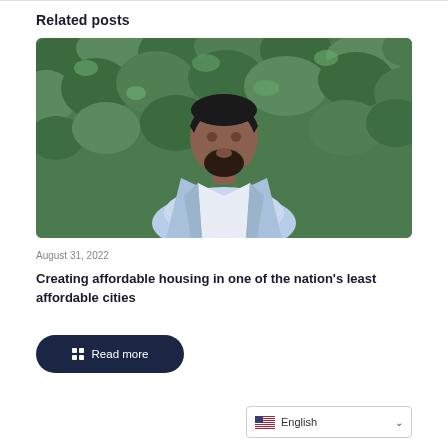Related posts
[Figure (photo): Professional headshot of a man in a light blue blazer standing in front of green foliage]
August 31, 2022
Creating affordable housing in one of the nation's least affordable cities
Read more